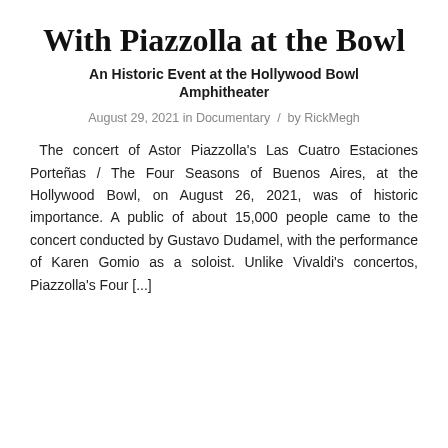With Piazzolla at the Bowl
An Historic Event at the Hollywood Bowl Amphitheater
August 29, 2021 in Documentary  /  by RickMegh
The concert of Astor Piazzolla's Las Cuatro Estaciones Porteñas / The Four Seasons of Buenos Aires, at the Hollywood Bowl, on August 26, 2021, was of historic importance. A public of about 15,000 people came to the concert conducted by Gustavo Dudamel, with the performance of Karen Gomio as a soloist. Unlike Vivaldi's concertos, Piazzolla's Four [...]